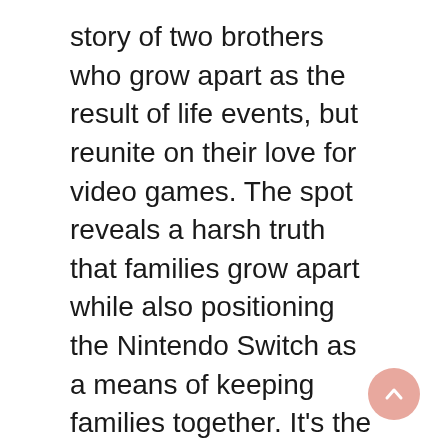story of two brothers who grow apart as the result of life events, but reunite on their love for video games. The spot reveals a harsh truth that families grow apart while also positioning the Nintendo Switch as a means of keeping families together. It's the same video game experience the consumer always loved as a kid, just in different packaging.
You can also recreate a more recent memory. Liudas Dapkus, a well-known traveler and journalist, encouraged his followers to recreate their favorite travel photos from the comforts of their own